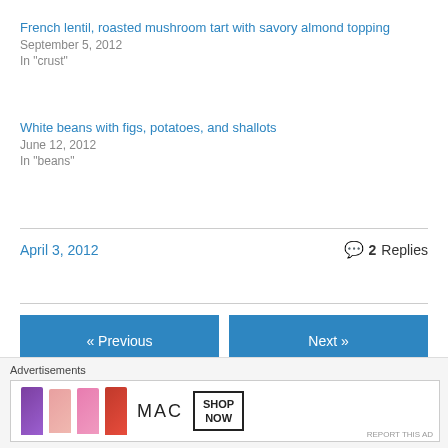French lentil, roasted mushroom tart with savory almond topping
September 5, 2012
In "crust"
White beans with figs, potatoes, and shallots
June 12, 2012
In "beans"
April 3, 2012
2 Replies
« Previous
Next »
Leave a Reply
[Figure (other): MAC cosmetics advertisement showing lipsticks and SHOP NOW button]